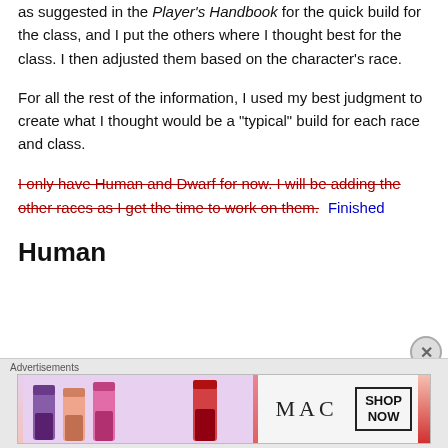as suggested in the Player's Handbook for the quick build for the class, and I put the others where I thought best for the class. I then adjusted them based on the character's race.
For all the rest of the information, I used my best judgment to create what I thought would be a “typical” build for each race and class.
I only have Human and Dwarf for now. I will be adding the other races as I get the time to work on them. Finished
Human
[Figure (photo): Advertisement banner showing MAC cosmetics lipsticks with 'SHOP NOW' text box and MAC logo]